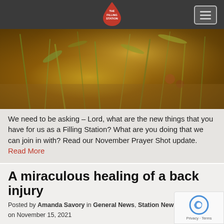THE FILLING STATION (logo/nav bar)
[Figure (photo): Close-up nature photo of golden/amber grasses and plants with warm sunlit tones, blurred background]
We need to be asking – Lord, what are the new things that you have for us as a Filling Station? What are you doing that we can join in with? Read our November Prayer Shot update. Read More
A miraculous healing of a back injury
Posted by Amanda Savory in General News, Station News on November 15, 2021
Translate »